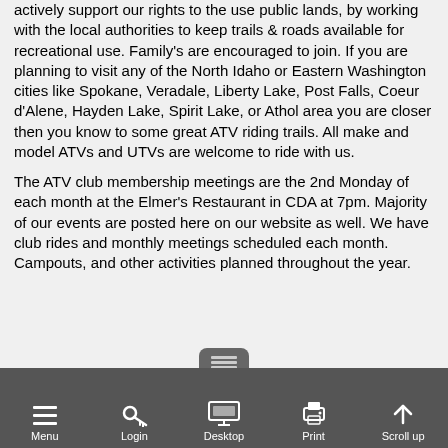actively support our rights to the use public lands, by working with the local authorities to keep trails & roads available for recreational use. Family's are encouraged to join. If you are planning to visit any of the North Idaho or Eastern Washington cities like Spokane, Veradale, Liberty Lake, Post Falls, Coeur d'Alene, Hayden Lake, Spirit Lake, or Athol area you are closer then you know to some great ATV riding trails. All make and model ATVs and UTVs are welcome to ride with us.
The ATV club membership meetings are the 2nd Monday of each month at the Elmer's Restaurant in CDA at 7pm. Majority of our events are posted here on our website as well. We have club rides and monthly meetings scheduled each month. Campouts, and other activities planned throughout the year.
Menu  Login  Desktop  Print  Scroll up